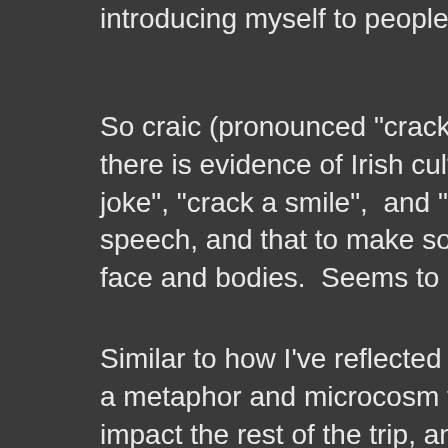introducing myself to people, and con...
So craic (pronounced "crack") is an im... there is evidence of Irish culture on ou... joke", "crack a smile",  and "you crack... speech, and that to make someone la... face and bodies.  Seems to make a lo...
Similar to how I've reflected on other t... a metaphor and microcosm for life ove... impact the rest of the trip, and often a... NOT go the other (the Cliffs of Moher... wrong decisions at these pivotal mom... Whether the choice I made turned out... my attitude toward the decision.  I nev...